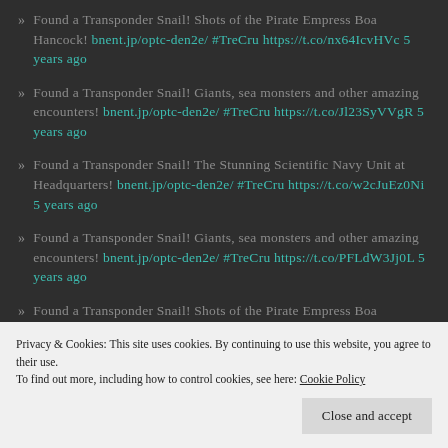Found a Transponder Snail! Shots of the Pirate Empress Boa Hancock! bnent.jp/optc-den2e/ #TreCru https://t.co/nx64IcvHVc 5 years ago
Found a Transponder Snail! Giants, sea monsters and other amazing encounters! bnent.jp/optc-den2e/ #TreCru https://t.co/Jl23SyVVgR 5 years ago
Found a Transponder Snail! The Stunning Scientific Navy Unit at Headquarters! bnent.jp/optc-den2e/ #TreCru https://t.co/w2cJuEz0Ni 5 years ago
Found a Transponder Snail! Giants, sea monsters and other amazing encounters! bnent.jp/optc-den2e/ #TreCru https://t.co/PFLdW3Jj0L 5 years ago
Found a Transponder Snail! Shots of the Pirate Empress Boa Hancock! bnent.jp/optc-den2e/ #TreCru https://t.co/TqzLBsmHdr 5 years ago
Privacy & Cookies: This site uses cookies. By continuing to use this website, you agree to their use. To find out more, including how to control cookies, see here: Cookie Policy